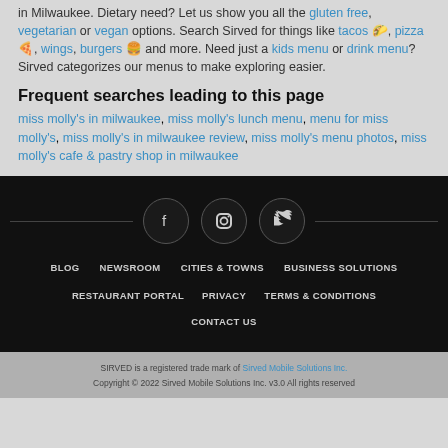in Milwaukee. Dietary need? Let us show you all the gluten free, vegetarian or vegan options. Search Sirved for things like tacos 🌮, pizza 🍕, wings, burgers 🍔 and more. Need just a kids menu or drink menu? Sirved categorizes our menus to make exploring easier.
Frequent searches leading to this page
miss molly's in milwaukee, miss molly's lunch menu, menu for miss molly's, miss molly's in milwaukee review, miss molly's menu photos, miss molly's cafe & pastry shop in milwaukee
[Figure (infographic): Dark footer section with Facebook, Instagram, and Twitter social media icons in dark circles connected by a horizontal line]
BLOG  NEWSROOM  CITIES & TOWNS  BUSINESS SOLUTIONS  RESTAURANT PORTAL  PRIVACY  TERMS & CONDITIONS  CONTACT US
SIRVED is a registered trade mark of Sirved Mobile Solutions Inc.
Copyright © 2022 Sirved Mobile Solutions Inc. v3.0 All rights reserved